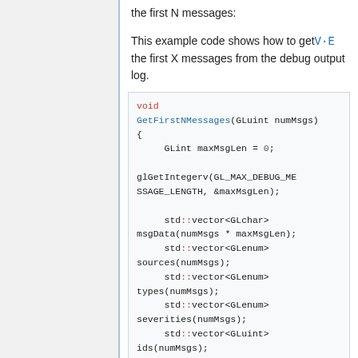the first N messages:
This example code shows how to get V·E the first X messages from the debug output log.
void GetFirstNMessages(GLuint numMsgs)
{
    GLint maxMsgLen = 0;

glGetIntegerv(GL_MAX_DEBUG_MESSAGE_LENGTH, &maxMsgLen);

    std::vector<GLchar> msgData(numMsgs * maxMsgLen);
    std::vector<GLenum> sources(numMsgs);
    std::vector<GLenum> types(numMsgs);
    std::vector<GLenum> severities(numMsgs);
    std::vector<GLuint> ids(numMsgs);